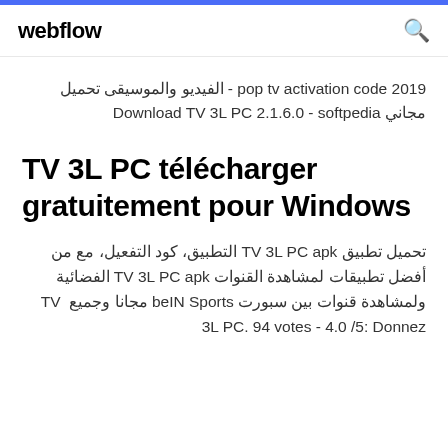webflow
pop tv activation code 2019 - الفيديو والموسيقى تحميل مجاني Download TV 3L PC 2.1.6.0 - softpedia
TV 3L PC télécharger gratuitement pour Windows
تحميل تطبيق TV 3L PC apk التطبيق، كود التفعيل، مع من أفضل تطبيقات لمشاهدة القنوات TV 3L PC apk الفضائية ولمشاهدة قنوات بين سبورت beIN Sports مجانا وجميع TV 3L PC. 94 votes - 4.0 /5: Donnez